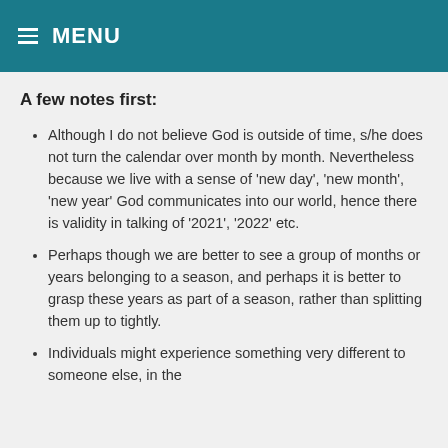≡ MENU
A few notes first:
Although I do not believe God is outside of time, s/he does not turn the calendar over month by month. Nevertheless because we live with a sense of 'new day', 'new month', 'new year' God communicates into our world, hence there is validity in talking of '2021', '2022' etc.
Perhaps though we are better to see a group of months or years belonging to a season, and perhaps it is better to grasp these years as part of a season, rather than splitting them up to tightly.
Individuals might experience something very different to someone else, in the